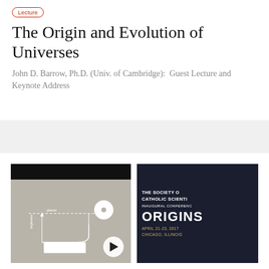Lecture
The Origin and Evolution of Universes
John D. Barrow, Ph.D. (Univ. of Cambridge): Guest Lecture and Keynote Address
[Figure (screenshot): Video thumbnail showing a lecture slide with a physics/astronomy diagram (orbital or universe diagram) on the left, and a Society of Catholic Scientists Inaugural Conference ORIGINS April 21-23, 2017 Chicago, Illinois banner on the right. A play button is visible. Caption reads 'Finding exoplanets'.]